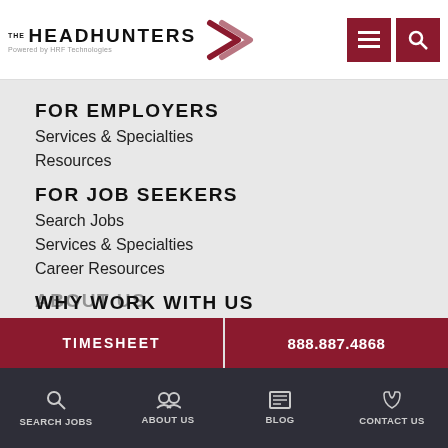The Headhunters Recruitment, Inc. — Logo and navigation header
FOR EMPLOYERS
Services & Specialties
Resources
FOR JOB SEEKERS
Search Jobs
Services & Specialties
Career Resources
WHY WORK WITH US
Workstyle and Performance Profile
Headhunting...
ABOUT US
Our Team
TIMESHEET
888.887.4868
SEARCH JOBS | ABOUT US | BLOG | CONTACT US